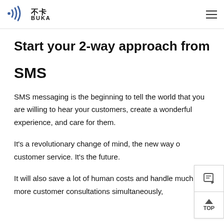不卡 BUKA
Start your 2-way approach from
SMS
SMS messaging is the beginning to tell the world that you are willing to hear your customers, create a wonderful experience, and care for them.
It's a revolutionary change of mind, the new way of customer service. It's the future.
It will also save a lot of human costs and handle much more customer consultations simultaneously,